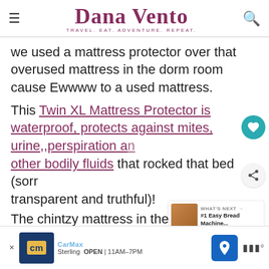Dana Vento — TRAVEL. EAT. ADVENTURE. REPEAT.
we used a mattress protector over that overused mattress in the dorm room cause Ewwww to a used mattress.
This Twin XL Mattress Protector is waterproof, protects against mites, urine,,perspiration and other bodily fluids that rocked that bed (sorry transparent and truthful)!
The chintzy mattress in the dorm room is too sim...
[Figure (screenshot): CarMax advertisement bar at the bottom showing CarMax logo, Sterling location, OPEN 11AM-7PM, navigation icon, and additional icons]